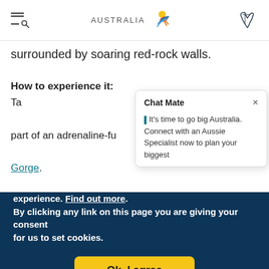Tourism Australia website header with menu/search icon, Australia logo, and map icon
surrounded by soaring red-rock walls.
How to experience it: Ta[ke a tour as] part of an adrenaline-fu[lled experience at] Gorge.
[Figure (screenshot): Chat Mate popup dialog with title 'Chat Mate', close button (×), and text: 'It's time to go big Australia. Connect with an Aussie Specialist now to plan your biggest']
We use cookies on this site to enhance your user experience. Find out more.
By clicking any link on this page you are giving your consent for us to set cookies.
Ok, I agree